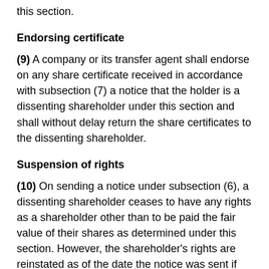this section.
Endorsing certificate
(9) A company or its transfer agent shall endorse on any share certificate received in accordance with subsection (7) a notice that the holder is a dissenting shareholder under this section and shall without delay return the share certificates to the dissenting shareholder.
Suspension of rights
(10) On sending a notice under subsection (6), a dissenting shareholder ceases to have any rights as a shareholder other than to be paid the fair value of their shares as determined under this section. However, the shareholder’s rights are reinstated as of the date the notice was sent if
(a) the shareholder withdraws the notice before the company makes an offer under subsection